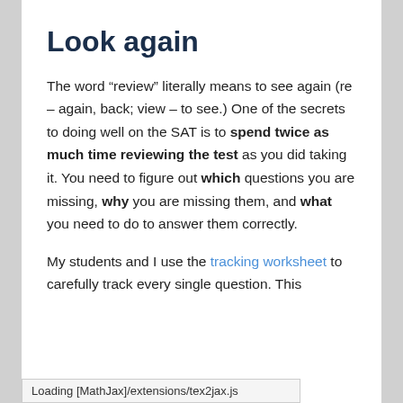Look again
The word “review” literally means to see again (re – again, back; view – to see.) One of the secrets to doing well on the SAT is to spend twice as much time reviewing the test as you did taking it. You need to figure out which questions you are missing, why you are missing them, and what you need to do to answer them correctly.
My students and I use the tracking worksheet to carefully track every single question. This
Loading [MathJax]/extensions/tex2jax.js